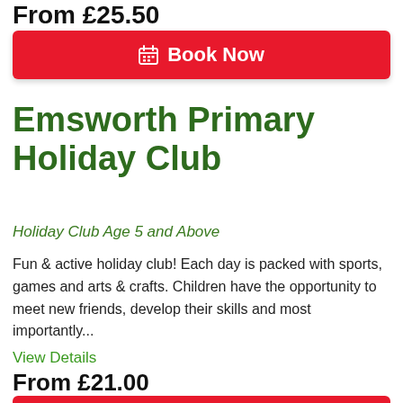From £25.50
Book Now
Emsworth Primary Holiday Club
Holiday Club Age 5 and Above
Fun & active holiday club! Each day is packed with sports, games and arts & crafts. Children have the opportunity to meet new friends, develop their skills and most importantly...
View Details
From £21.00